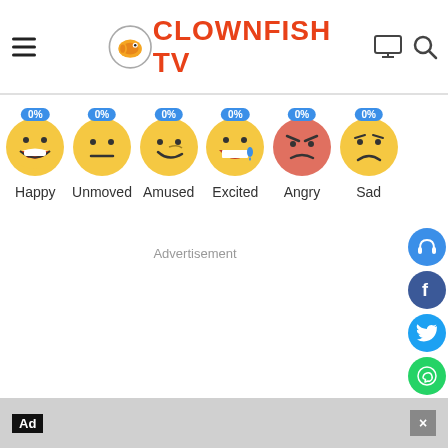Clownfish TV
[Figure (infographic): Six emoji reaction buttons each showing 0% — Happy, Unmoved, Amused, Excited, Angry, Sad]
Advertisement
[Figure (infographic): Vertical social media sidebar with icons: headphones, Facebook, Twitter, WhatsApp, emoji, red chat bubble, red message, red share]
Ad  ×